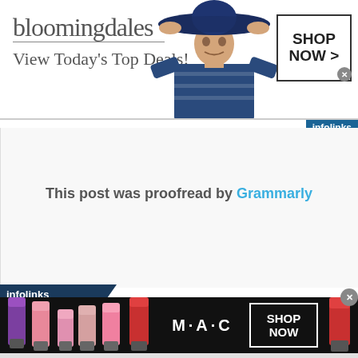[Figure (screenshot): Bloomingdales advertisement banner with logo, 'View Today's Top Deals!' tagline, a woman in a blue hat, and a 'SHOP NOW >' button]
infolinks
This post was proofread by Grammarly
infolinks
[Figure (screenshot): MAC Cosmetics advertisement banner with lipsticks, MAC logo, and SHOP NOW button]